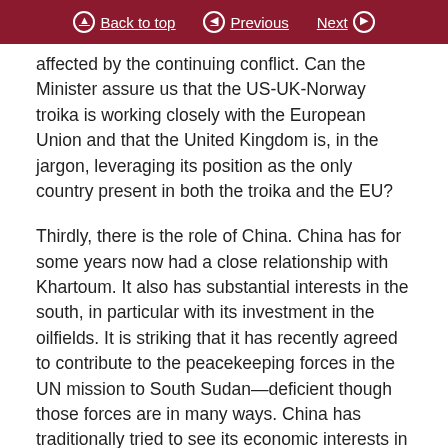Back to top | Previous | Next
affected by the continuing conflict. Can the Minister assure us that the US-UK-Norway troika is working closely with the European Union and that the United Kingdom is, in the jargon, leveraging its position as the only country present in both the troika and the EU?
Thirdly, there is the role of China. China has for some years now had a close relationship with Khartoum. It also has substantial interests in the south, in particular with its investment in the oilfields. It is striking that it has recently agreed to contribute to the peacekeeping forces in the UN mission to South Sudan—deficient though those forces are in many ways. China has traditionally tried to see its economic interests in the developing world as